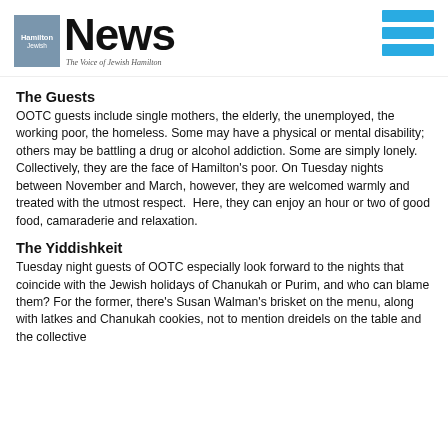Hamilton Jewish News — The Voice of Jewish Hamilton
The Guests
OOTC guests include single mothers, the elderly, the unemployed, the working poor, the homeless. Some may have a physical or mental disability; others may be battling a drug or alcohol addiction. Some are simply lonely. Collectively, they are the face of Hamilton's poor. On Tuesday nights between November and March, however, they are welcomed warmly and treated with the utmost respect.  Here, they can enjoy an hour or two of good food, camaraderie and relaxation.
The Yiddishkeit
Tuesday night guests of OOTC especially look forward to the nights that coincide with the Jewish holidays of Chanukah or Purim, and who can blame them? For the former, there's Susan Walman's brisket on the menu, along with latkes and Chanukah cookies, not to mention dreidels on the table and the collective